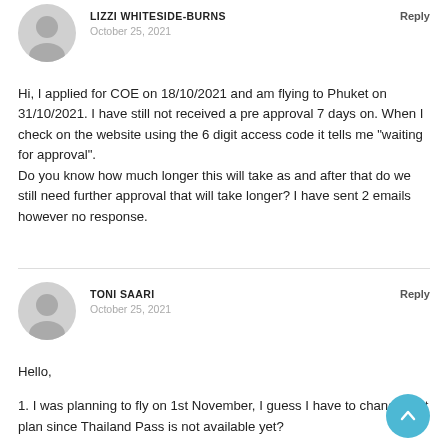LIZZI WHITESIDE-BURNS — Reply
October 25, 2021
Hi, I applied for COE on 18/10/2021 and am flying to Phuket on 31/10/2021. I have still not received a pre approval 7 days on. When I check on the website using the 6 digit access code it tells me "waiting for approval".
Do you know how much longer this will take as and after that do we still need further approval that will take longer? I have sent 2 emails however no response.
TONI SAARI — Reply
October 25, 2021
Hello,

1. I was planning to fly on 1st November, I guess I have to change that plan since Thailand Pass is not available yet?